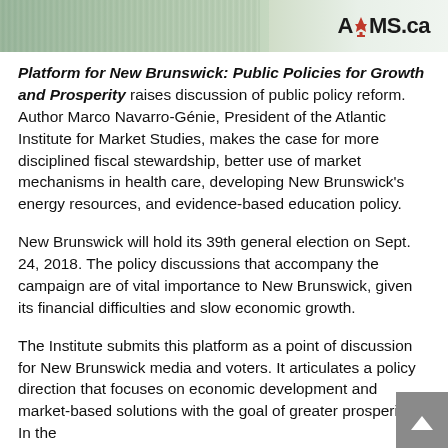[Figure (logo): AIMS.ca website header with green gradient banner and AIMS.ca logo on the right]
Platform for New Brunswick: Public Policies for Growth and Prosperity raises discussion of public policy reform. Author Marco Navarro-Génie, President of the Atlantic Institute for Market Studies, makes the case for more disciplined fiscal stewardship, better use of market mechanisms in health care, developing New Brunswick's energy resources, and evidence-based education policy.
New Brunswick will hold its 39th general election on Sept. 24, 2018. The policy discussions that accompany the campaign are of vital importance to New Brunswick, given its financial difficulties and slow economic growth.
The Institute submits this platform as a point of discussion for New Brunswick media and voters. It articulates a policy direction that focuses on economic development and market-based solutions with the goal of greater prosperity. In the